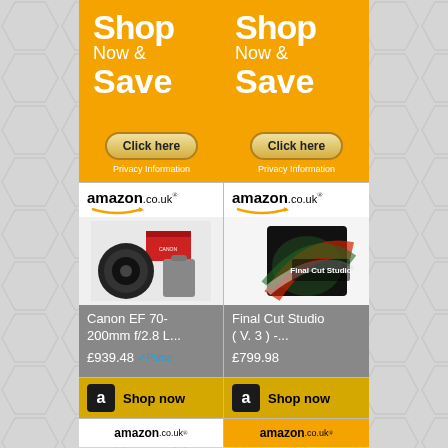[Figure (illustration): Orange advertisement banner with 'Shop Now & Save' text repeated twice side by side, with two 'Click here' buttons and 'Privacy Information' text below each button]
[Figure (screenshot): Amazon.co.uk product listing showing Canon EF 70-200mm f/2.8 L... lens for £939.48 with Prime badge and Shop now button]
[Figure (screenshot): Amazon.co.uk product listing showing Final Cut Studio (V. 3) -... for £799.98 with Shop now button]
[Figure (screenshot): Partial row showing two Amazon.co.uk logos at the bottom of the page]